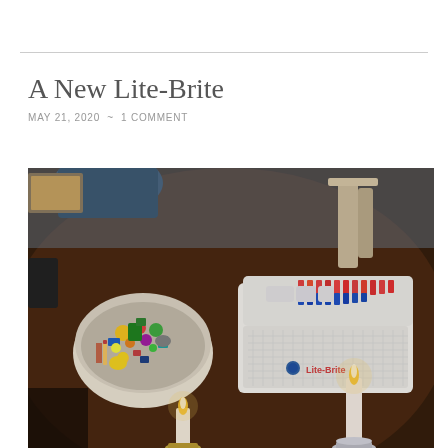A New Lite-Brite
MAY 21, 2020  ~  1 COMMENT
[Figure (photo): A dining table with a Lite-Brite toy box in the center, a bowl filled with colorful small toys and figurines to the left, two lit candles in candleholders in the foreground bottom, and a chair visible in the background. The photo is taken from above at an angle.]